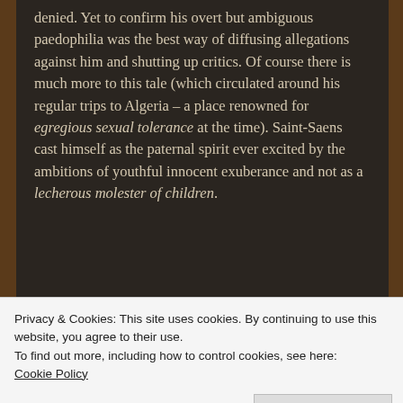denied. Yet to confirm his overt but ambiguous paedophilia was the best way of diffusing allegations against him and shutting up critics. Of course there is much more to this tale (which circulated around his regular trips to Algeria – a place renowned for egregious sexual tolerance at the time). Saint-Saens cast himself as the paternal spirit ever excited by the ambitions of youthful innocent exuberance and not as a lecherous molester of children.
Ancient
sexual roots
[Figure (photo): Dark, vintage-style photo showing reddish-brown and dark tones, partially visible figure or scene]
Privacy & Cookies: This site uses cookies. By continuing to use this website, you agree to their use.
To find out more, including how to control cookies, see here:
Cookie Policy
Close and accept